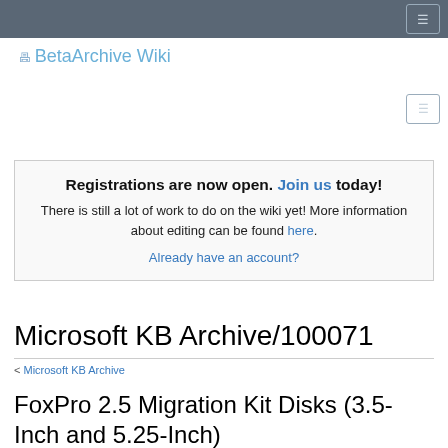BetaArchive Wiki
Registrations are now open. Join us today! There is still a lot of work to do on the wiki yet! More information about editing can be found here. Already have an account?
Microsoft KB Archive/100071
< Microsoft KB Archive
FoxPro 2.5 Migration Kit Disks (3.5-Inch and 5.25-Inch)